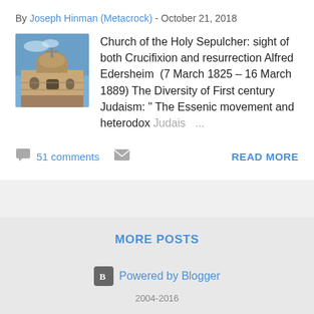By Joseph Hinman (Metacrock) - October 21, 2018
[Figure (photo): Church of the Holy Sepulcher building with dome and cross against blue sky]
Church of the Holy Sepulcher: sight of both Crucifixion and resurrection Alfred Edersheim  (7 March 1825 – 16 March 1889) The Diversity of First century Judaism: " The Essenic movement and heterodox Judais ...
51 comments
READ MORE
MORE POSTS
Powered by Blogger
2004-2016